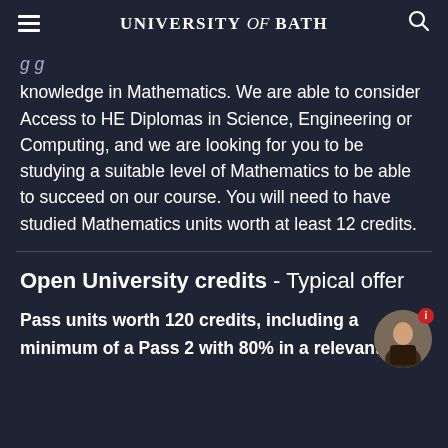UNIVERSITY of BATH
knowledge in Mathematics. We are able to consider Access to HE Diplomas in Science, Engineering or Computing, and we are looking for you to be studying a suitable level of Mathematics to be able to succeed on our course. You will need to have studied Mathematics units worth at least 12 credits.
Open University credits - Typical offer
Pass units worth 120 credits, including a minimum of a Pass 2 with 80% in a relevant